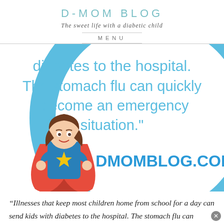D-MOM BLOG
The sweet life with a diabetic child
MENU
[Figure (infographic): D-Mom Blog infographic showing a cartoon superhero mom illustration on the left and a large blue circle arc behind text that reads: 'diabetes to the hospital. The stomach flu can quickly become an emergency situation.' and 'DMOMBLOG.COM' in bold blue text at the bottom right.]
“Illnesses that keep most children home from school for a day can send kids with diabetes to the hospital. The stomach flu can quickly become an